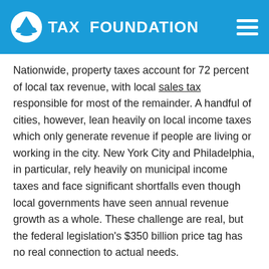TAX FOUNDATION
Nationwide, property taxes account for 72 percent of local tax revenue, with local sales tax responsible for most of the remainder. A handful of cities, however, lean heavily on local income taxes which only generate revenue if people are living or working in the city. New York City and Philadelphia, in particular, rely heavily on municipal income taxes and face significant shortfalls even though local governments have seen annual revenue growth as a whole. These challenge are real, but the federal legislation's $350 billion price tag has no real connection to actual needs.
Where states are struggling, however, is with the intense demands on their unemployment compensation systems. Even though the federal government is spending three dollars for every dollar states spend on unemployment